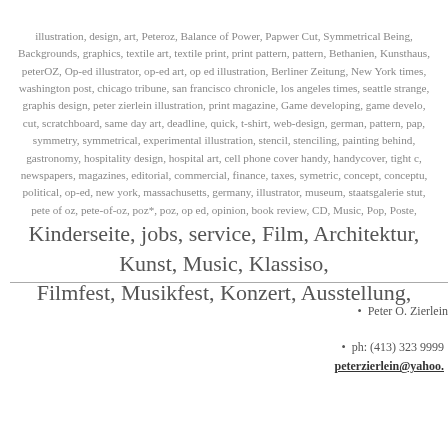illustration, design, art, Peteroz, Balance of Power, Papwer Cut, Symmetrical Being, Backgrounds, graphics, textile art, textile print, print pattern, pattern, Bethanien, Kunsthaus, peterOZ, Op-ed illustrator, op-ed art, op ed illustration, Berliner Zeitung, New York times, washington post, chicago tribune, san francisco chronicle, los angeles times, seattle strange, graphis design, peter zierlein illustration, print magazine, Game developing, game develo, cut, scratchboard, same day art, deadline, quick, t-shirt, web-design, german, pattern, pap, symmetry, symmetrical, experimental illustration, stencil, stenciling, painting behind, gastronomy, hospitality design, hospital art, cell phone cover handy, handycover, tight c, newspapers, magazines, editorial, commercial, finance, taxes, symetric, concept, conceptu, political, op-ed, new york, massachusetts, germany, illustrator, museum, staatsgalerie stut, pete of oz, pete-of-oz, poz*, poz, op ed, opinion, book review, CD, Music, Pop, Poste, Kinderseite, jobs, service, Film, Architektur, Kunst, Music, Klassiso, Filmfest, Musikfest, Konzert, Ausstellung,
Peter O. Zierlein
ph: (413) 323 9999, peterzierlein@yahoo.